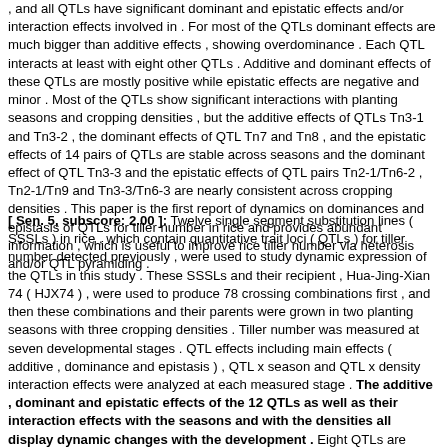, and all QTLs have significant dominant and epistatic effects and/or interaction effects involved in . For most of the QTLs dominant effects are much bigger than additive effects , showing overdominance . Each QTL interacts at least with eight other QTLs . Additive and dominant effects of these QTLs are mostly positive while epistatic effects are negative and minor . Most of the QTLs show significant interactions with planting seasons and cropping densities , but the additive effects of QTLs Tn3-1 and Tn3-2 , the dominant effects of QTL Tn7 and Tn8 , and the epistatic effects of 14 pairs of QTLs are stable across seasons and the dominant effect of QTL Tn3-3 and the epistatic effects of QTL pairs Tn2-1/Tn6-2 , Tn2-1/Tn9 and Tn3-3/Tn6-3 are nearly consistent across cropping densities . This paper is the first report of dynamics on dominances and epistasis of QTLs for tiller number in rice and provides abundant information , which is useful to improve rice tiller number via heterosis and/or QTL pyramiding .
[ Sen. 5, subscore: 2.00 ]: Twelve single segment substitution lines ( SSSLs ) in rice , which contain quantitative trait loci ( QTLs ) for tiller number detected previously , were used to study dynamic expression of the QTLs in this study . These SSSLs and their recipient , Hua-Jing-Xian 74 ( HJX74 ) , were used to produce 78 crossing combinations first , and then these combinations and their parents were grown in two planting seasons with three cropping densities . Tiller number was measured at seven developmental stages . QTL effects including main effects ( additive , dominance and epistasis ) , QTL x season and QTL x density interaction effects were analyzed at each measured stage . The additive , dominant and epistatic effects of the 12 QTLs as well as their interaction effects with the seasons and with the densities all display dynamic changes with the development . Eight QTLs are detected with significant additive effects and/or additive x season and/or additive x density interaction effects at least at one developmental stage , and all QTLs have significant dominant and epistatic effects and/or